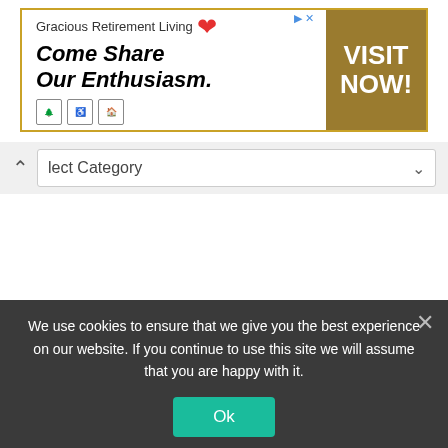[Figure (screenshot): Advertisement banner for Gracious Retirement Living with tagline 'Come Share Our Enthusiasm.' and a gold 'VISIT NOW!' call-to-action button]
lect Category
[Figure (screenshot): Google search bar partially visible]
We use cookies to ensure that we give you the best experience on our website. If you continue to use this site we will assume that you are happy with it.
Ok